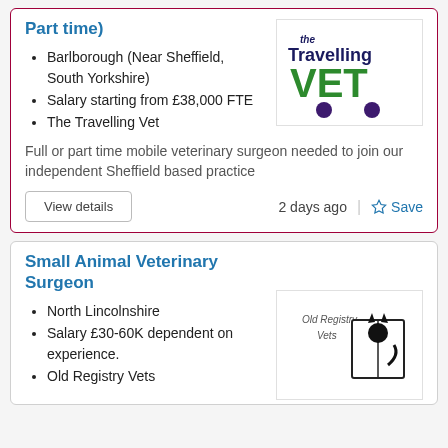Part time)
Barlborough (Near Sheffield, South Yorkshire)
Salary starting from £38,000 FTE
The Travelling Vet
[Figure (logo): The Travelling Vet logo — text 'the Travelling VET' with the VET styled large in green and two purple wheels beneath, resembling a cart]
Full or part time mobile veterinary surgeon needed to join our independent Sheffield based practice
2 days ago
Save
Small Animal Veterinary Surgeon
North Lincolnshire
Salary £30-60K dependent on experience.
Old Registry Vets
[Figure (logo): Old Registry Vets logo — text 'Old Registry Vets' with a silhouette of a cat sitting on an open book]